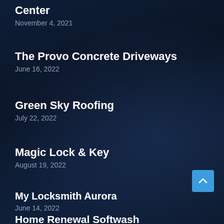Center
November 4, 2021
The Provo Concrete Driveways
June 16, 2022
Green Sky Roofing
July 22, 2022
Magic Lock & Key
August 19, 2022
My Locksmith Aurora
June 14, 2022
Home Renewal Softwash